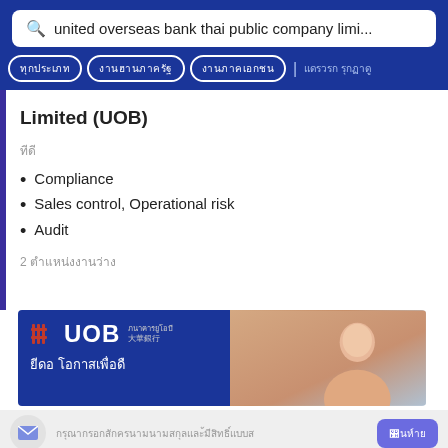united overseas bank thai public company limi...
[Thai tab labels: tab1, tab2, tab3 | tab4 tab5]
Limited (UOB)
[Thai: สาขา/ประเภท]
Compliance
Sales control, Operational risk
Audit
2 ตำแหน่งงานว่าง
[Figure (screenshot): UOB bank banner with logo and person smiling]
[Thai notification text] [Thai button]